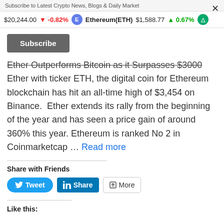Subscribe to Latest Crypto News, Blogs & Daily Market
$20,244.00 ↓ -0.82%  Ethereum(ETH)  $1,588.77 ↑ 0.67%
Subscribe
Ether Outperforms Bitcoin as it Surpasses $3000
Ether with ticker ETH, the digital coin for Ethereum blockchain has hit an all-time high of $3,454 on Binance.  Ether extends its rally from the beginning of the year and has seen a price gain of around 360% this year. Ethereum is ranked No 2 in Coinmarketcap … Read more
Share with Friends
Tweet  Share  More
Like this: